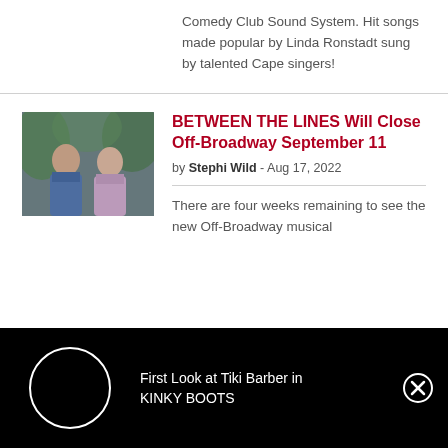Comedy Club Sound System. Hit songs made popular by Linda Ronstadt sung by talented Cape singers!
[Figure (photo): Two performers on stage, a man and a woman, in theatrical costumes with colorful lighting]
BETWEEN THE LINES Will Close Off-Broadway September 11
by Stephi Wild - Aug 17, 2022
There are four weeks remaining to see the new Off-Broadway musical
[Figure (other): Black advertisement bar with loading circle and text: First Look at Tiki Barber in KINKY BOOTS, with close button]